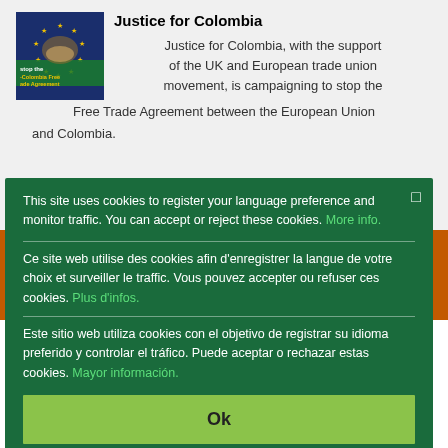[Figure (logo): Justice for Colombia logo - Stop the EU-Colombia Free Trade Agreement, with EU stars and hands imagery]
Justice for Colombia
Justice for Colombia, with the support of the UK and European trade union movement, is campaigning to stop the Free Trade Agreement between the European Union and Colombia.
This site uses cookies to register your language preference and monitor traffic. You can accept or reject these cookies. More info.
Ce site web utilise des cookies afin d'enregistrer la langue de votre choix et surveiller le traffic. Vous pouvez accepter ou refuser ces cookies. Plus d'infos.
Este sitio web utiliza cookies con el objetivo de registrar su idioma preferido y controlar el tráfico. Puede aceptar o rechazar estas cookies. Mayor información.
Ok
Ú
Últim
Comenzó el encuentro regional "Resistiendo a la liberalización comercial"